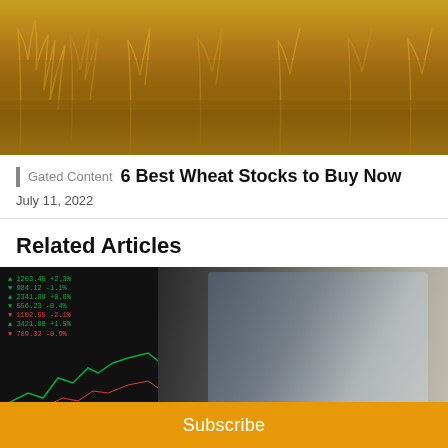[Figure (photo): Close-up photo of golden wheat stalks/grain field]
Gated Content  6 Best Wheat Stocks to Buy Now
July 11, 2022
Related Articles
[Figure (photo): Man with glasses looking at stock market trading screens showing charts]
Subscribe